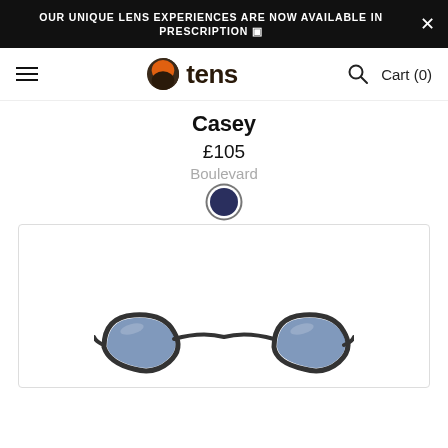OUR UNIQUE LENS EXPERIENCES ARE NOW AVAILABLE IN PRESCRIPTION ▣
[Figure (logo): Tens sunglasses brand logo: orange/dark circle icon with the word 'tens' in dark brown bold font]
Casey
£105
Boulevard
[Figure (illustration): Dark navy blue color swatch circle indicating selected color option]
[Figure (photo): Product image showing dark grey/black sunglasses (Casey model) with blue-tinted lenses, partially visible at bottom of image area]